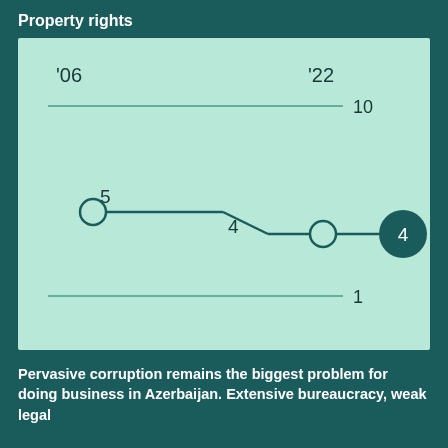Property rights
[Figure (line-chart): Property rights]
Pervasive corruption remains the biggest problem for doing business in Azerbaijan. Extensive bureaucracy, weak legal